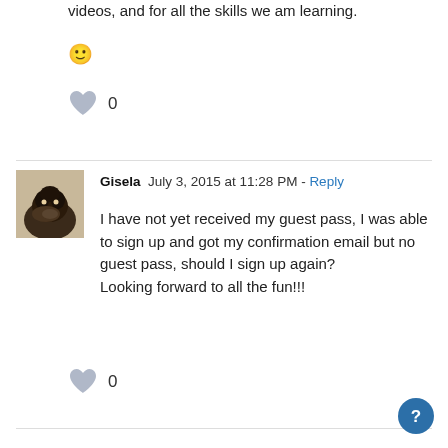videos, and for all the skills we am learning. 🙂
[Figure (other): Gray heart icon with like count 0]
Gisela  July 3, 2015 at 11:28 PM - Reply
[Figure (photo): Avatar photo of a black dog lying down]
I have not yet received my guest pass, I was able to sign up and got my confirmation email but no guest pass, should I sign up again?
Looking forward to all the fun!!!
[Figure (other): Gray heart icon with like count 0]